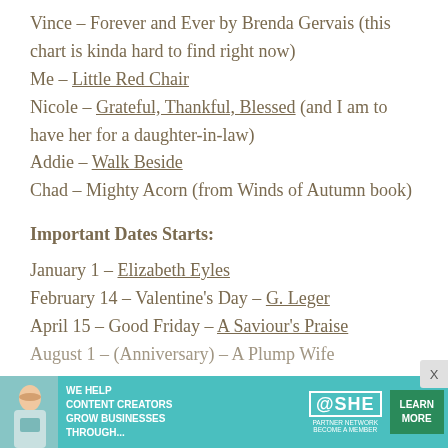Vince – Forever and Ever by Brenda Gervais (this chart is kinda hard to find right now)
Me – Little Red Chair
Nicole – Grateful, Thankful, Blessed (and I am to have her for a daughter-in-law)
Addie – Walk Beside
Chad – Mighty Acorn (from Winds of Autumn book)
Important Dates Starts:
January 1 – Elizabeth Eyles
February 14 – Valentine's Day – G. Leger
April 15 – Good Friday – A Saviour's Praise
August 1 – (Anniversary) – A Plump Wife
[Figure (infographic): Advertisement banner for SHE Media partner network with teal background, woman with laptop, text 'We Help Content Creators Grow Businesses Through...', SHE logo, and green 'Learn More' button]